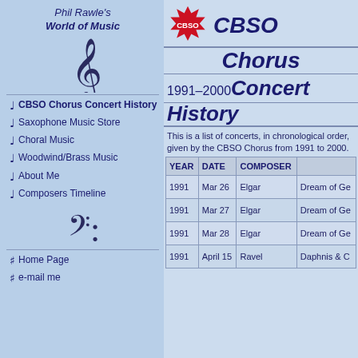Phil Rawle's World of Music
[Figure (illustration): Musical treble clef symbol]
CBSO Chorus Concert History
Saxophone Music Store
Choral Music
Woodwind/Brass Music
About Me
Composers Timeline
[Figure (illustration): Musical bass clef symbol]
Home Page
e-mail me
CBSO Chorus Concert History
1991–2000 Concert History
This is a list of concerts, in chronological order, given by the CBSO Chorus from 1991 to 2000.
| YEAR | DATE | COMPOSER |  |
| --- | --- | --- | --- |
| 1991 | Mar 26 | Elgar | Dream of Ge… |
| 1991 | Mar 27 | Elgar | Dream of Ge… |
| 1991 | Mar 28 | Elgar | Dream of Ge… |
| 1991 | April 15 | Ravel | Daphnis & C… |